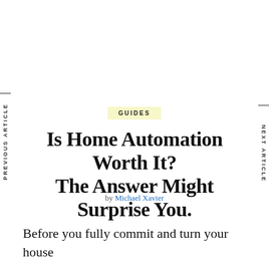PREVIOUS ARTICLE
NEXT ARTICLE
GUIDES
Is Home Automation Worth It? The Answer Might Surprise You.
by Michael Xavier
Before you fully commit and turn your house